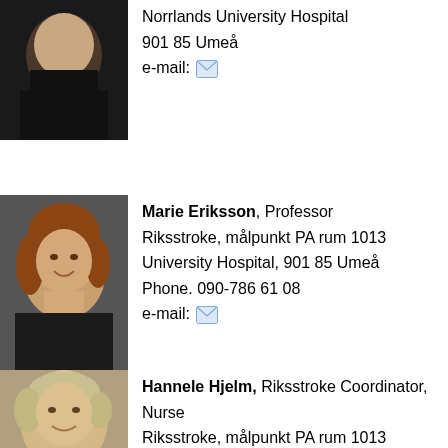[Figure (photo): Partial photo of a person at top of page, dark clothing]
Norrlands University Hospital
901 85 Umeå
e-mail: [icon]
[Figure (photo): Photo of Marie Eriksson, Professor, smiling woman with curly reddish-brown hair]
Marie Eriksson, Professor
Riksstroke, målpunkt PA rum 1013
University Hospital, 901 85 Umeå
Phone. 090-786 61 08
e-mail: [icon]
[Figure (photo): Photo of Hannele Hjelm, Riksstroke Coordinator, Nurse, woman with short blonde hair]
Hannele Hjelm, Riksstroke Coordinator, Nurse
Riksstroke, målpunkt PA rum 1013
Norrlands University Hospital, 901 85 Umeå